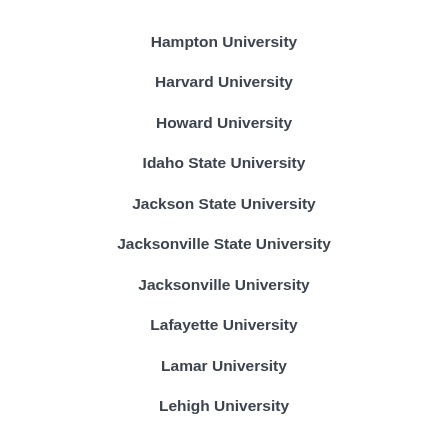Hampton University
Harvard University
Howard University
Idaho State University
Jackson State University
Jacksonville State University
Jacksonville University
Lafayette University
Lamar University
Lehigh University